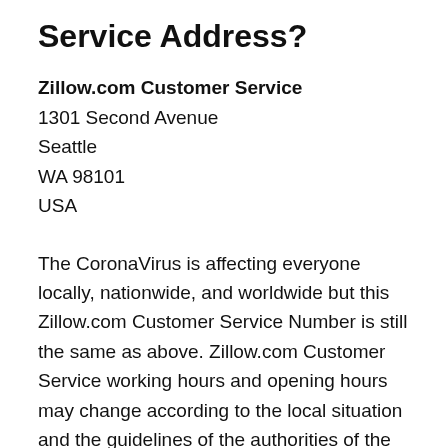Service Address?
Zillow.com Customer Service
1301 Second Avenue
Seattle
WA 98101
USA
The CoronaVirus is affecting everyone locally, nationwide, and worldwide but this Zillow.com Customer Service Number is still the same as above. Zillow.com Customer Service working hours and opening hours may change according to the local situation and the guidelines of the authorities of the